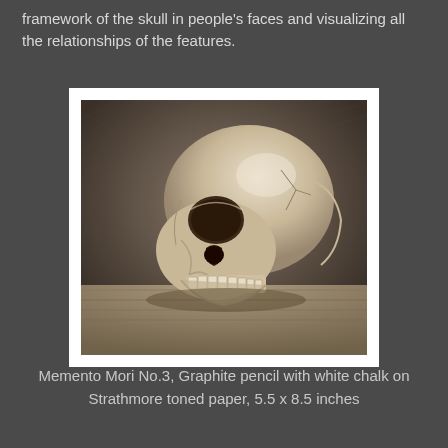framework of the skull in people's faces and visualizing all the relationships of the features.
[Figure (illustration): Pencil drawing of a human skull facing slightly left, rendered in graphite with white chalk highlights on toned paper. The skull is detailed with visible eye sockets, nasal cavity, and teeth. Background shows textured fur or fabric.]
Memento Mori No.3, Graphite pencil with white chalk on Strathmore toned paper, 5.5 x 8.5 inches